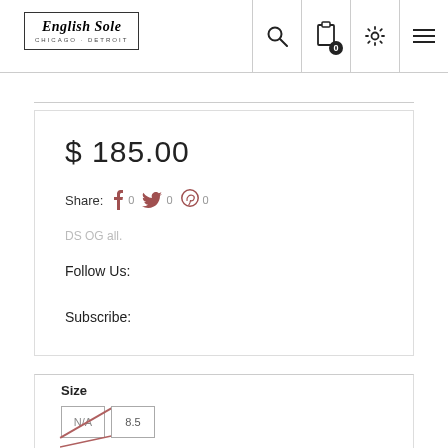English Sole CHICAGO · DETROIT
$ 185.00
Share: 0 0 0
DS OG all.
Follow Us:
Subscribe:
Size
N/A  8.5